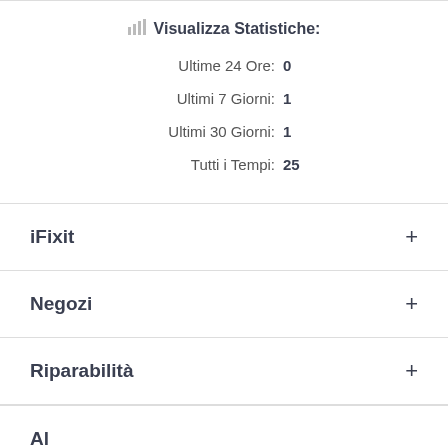Visualizza Statistiche:
Ultime 24 Ore: 0
Ultimi 7 Giorni: 1
Ultimi 30 Giorni: 1
Tutti i Tempi: 25
iFixit +
Negozi +
Riparabilità +
Al...